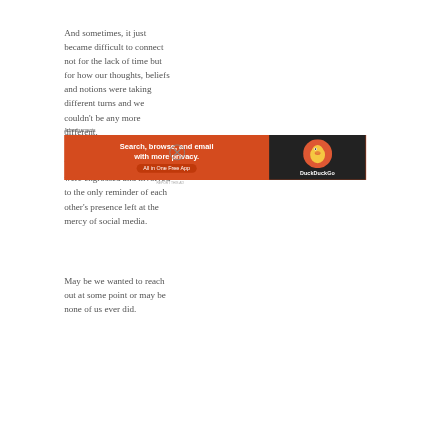And sometimes, it just became difficult to connect not for the lack of time but for how our thoughts, beliefs and notions were taking different turns and we couldn't be any more different.
We went from days where we were engrossed and involved to the only reminder of each other's presence left at the mercy of social media.
May be we wanted to reach out at some point or may be none of us ever did.
Advertisements
[Figure (other): DuckDuckGo advertisement banner: 'Search, browse, and email with more privacy. All in One Free App' on orange background with DuckDuckGo logo on dark background.]